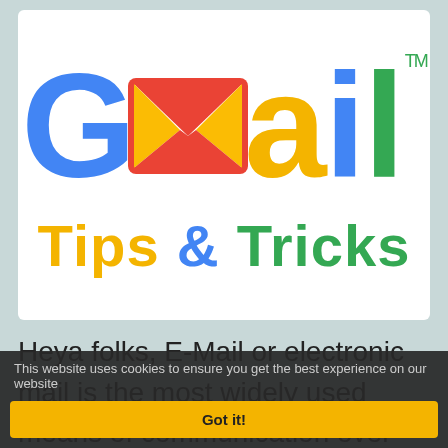[Figure (logo): Gmail logo with large blue G, envelope M icon, golden a, blue i with blue dot, green l, and TM mark, with 'Tips & Tricks' subtitle in yellow and green bold text]
Heya folks, E-Mail or electronic mail is the most widely used means of communication over the Internet , also its kinda an impression by a person...provided by Google. Such popular e-mail service provided by Google!
This website uses cookies to ensure you get the best experience on our website
Got it!